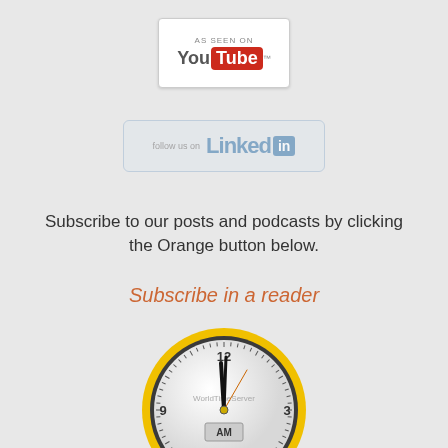[Figure (logo): YouTube 'As Seen On' badge — white card with 'AS SEEN ON' text above the YouTube logo]
[Figure (logo): LinkedIn 'Follow us on' badge — light blue card with LinkedIn logo]
Subscribe to our posts and podcasts by clicking the Orange button below.
Subscribe in a reader
[Figure (other): Analog clock face with yellow bezel showing approximately 12:00 AM, labeled 'WorldTimeServer' with AM indicator, and 'Denver' label below]
Denver